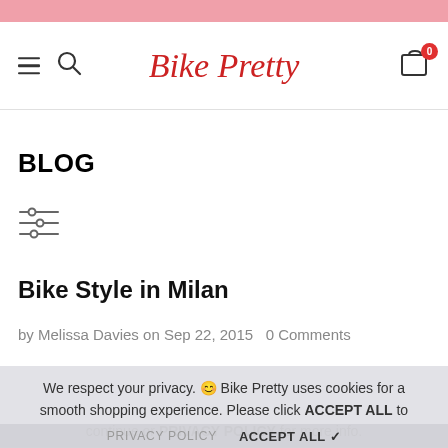Bike Pretty
BLOG
[Figure (other): Filter/settings sliders icon]
Bike Style in Milan
by Melissa Davies on Sep 22, 2015   0 Comments
We respect your privacy. 😊 Bike Pretty uses cookies for a smooth shopping experience. Please click ACCEPT ALL to continue or PRIVACY POLICY for more info.
PRIVACY POLICY   ACCEPT ALL ✔